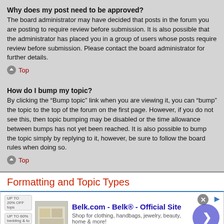Why does my post need to be approved?
The board administrator may have decided that posts in the forum you are posting to require review before submission. It is also possible that the administrator has placed you in a group of users whose posts require review before submission. Please contact the board administrator for further details.
Top
How do I bump my topic?
By clicking the “Bump topic” link when you are viewing it, you can “bump” the topic to the top of the forum on the first page. However, if you do not see this, then topic bumping may be disabled or the time allowance between bumps has not yet been reached. It is also possible to bump the topic simply by replying to it, however, be sure to follow the board rules when doing so.
Top
Formatting and Topic Types
[Figure (screenshot): Advertisement banner for Belk.com - Official Site. Shows Belk branding with shopping image, text: Shop for clothing, handbags, jewelry, beauty, home & more! www.belk.com, with a blue circular arrow button.]